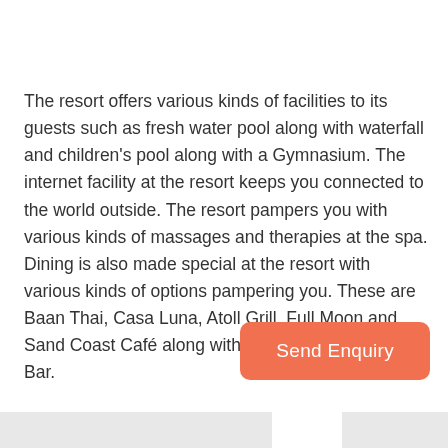The resort offers various kinds of facilities to its guests such as fresh water pool along with waterfall and children's pool along with a Gymnasium. The internet facility at the resort keeps you connected to the world outside. The resort pampers you with various kinds of massages and therapies at the spa. Dining is also made special at the resort with various kinds of options pampering you. These are Baan Thai, Casa Luna, Atoll Grill, Full Moon and Sand Coast Café along with Drifters and Anchorage Bar.
Send Enquiry